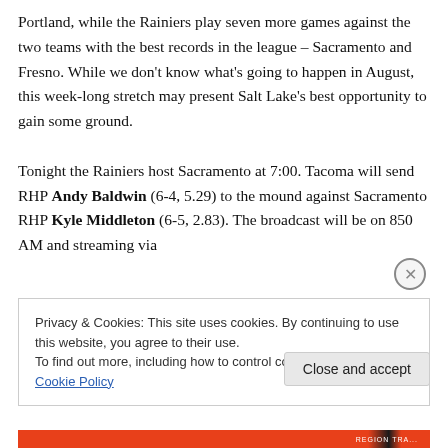Portland, while the Rainiers play seven more games against the two teams with the best records in the league – Sacramento and Fresno. While we don't know what's going to happen in August, this week-long stretch may present Salt Lake's best opportunity to gain some ground.

Tonight the Rainiers host Sacramento at 7:00. Tacoma will send RHP Andy Baldwin (6-4, 5.29) to the mound against Sacramento RHP Kyle Middleton (6-5, 2.83). The broadcast will be on 850 AM and streaming via
Privacy & Cookies: This site uses cookies. By continuing to use this website, you agree to their use.
To find out more, including how to control cookies, see here: Cookie Policy